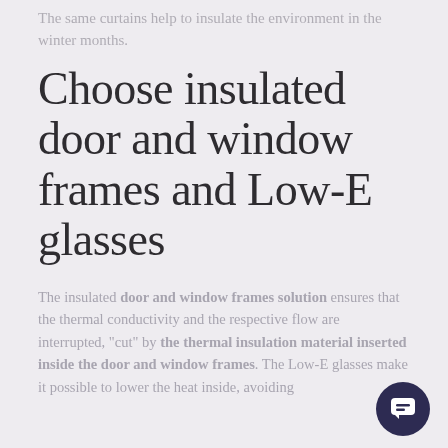The same curtains help to insulate the environment in the winter months.
Choose insulated door and window frames and Low-E glasses
The insulated door and window frames solution ensures that the thermal conductivity and the respective flow are interrupted, "cut" by the thermal insulation material inserted inside the door and window frames. The Low-E glasses make it possible to lower the heat inside, avoiding